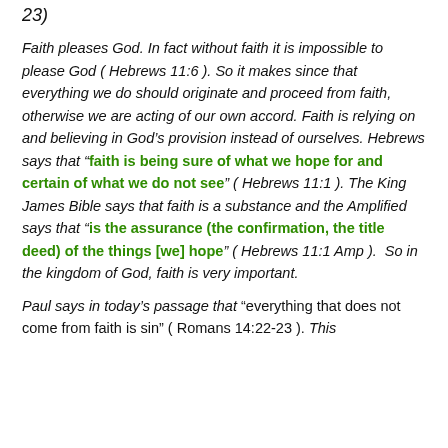23)
Faith pleases God. In fact without faith it is impossible to please God ( Hebrews 11:6 ). So it makes since that everything we do should originate and proceed from faith, otherwise we are acting of our own accord. Faith is relying on and believing in God’s provision instead of ourselves. Hebrews says that “faith is being sure of what we hope for and certain of what we do not see” ( Hebrews 11:1 ). The King James Bible says that faith is a substance and the Amplified says that “is the assurance (the confirmation, the title deed) of the things [we] hope” ( Hebrews 11:1 Amp ). So in the kingdom of God, faith is very important.
Paul says in today’s passage that “everything that does not come from faith is sin” ( Romans 14:22-23 ). This means…